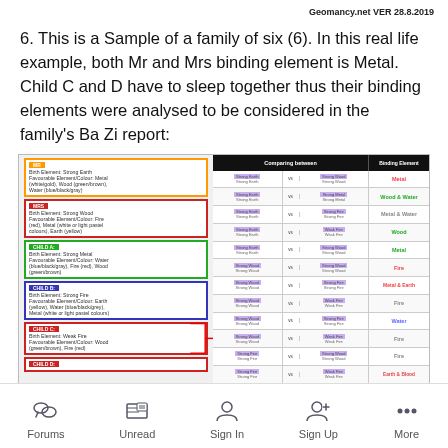Geomancy.net VER 28.8.2019
6. This is a Sample of a family of six (6). In this real life example, both Mr and Mrs binding element is Metal. Child C and D have to sleep together thus their binding elements were analysed to be considered in the family’s Ba Zi report:
[Figure (screenshot): Screenshot of a Ba Zi family report table comparing binding elements for Mr, Mrs, Child A, Child B, Child C, and Child D, with columns for 'Comparing between' and 'Binding Element'. Binding elements listed include Metal, Wood & Water, Metal & Water, Wood, Metal, Fire, Metal & Earth, Fire, Fire, Water, Fire, Fire, Earth & Blood.]
Forums    Unread    Sign In    Sign Up    More